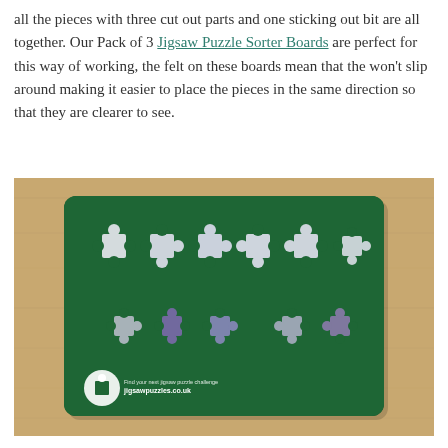all the pieces with three cut out parts and one sticking out bit are all together. Our Pack of 3 Jigsaw Puzzle Sorter Boards are perfect for this way of working, the felt on these boards mean that the won't slip around making it easier to place the pieces in the same direction so that they are clearer to see.
[Figure (photo): A green felt jigsaw puzzle sorter board photographed on a wooden table surface. The dark green felt board has rounded corners and displays several jigsaw puzzle pieces arranged in two rows. The top row has six white/light-colored puzzle pieces and the bottom row has five smaller puzzle pieces. In the bottom left corner of the board is a circular logo with a puzzle piece icon and the text 'jigsawpuzzles.co.uk'.]